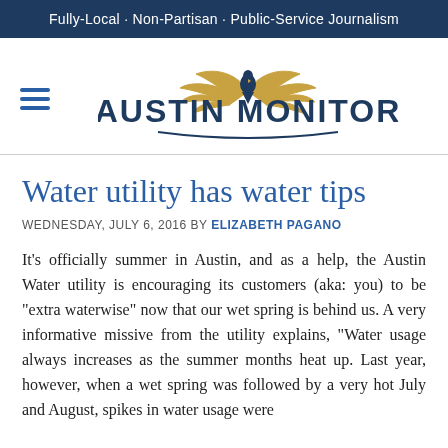Fully-Local · Non-Partisan · Public-Service Journalism
[Figure (logo): Austin Monitor logo with stylized eagle wings above the text and hamburger menu icon to the left]
Water utility has water tips
WEDNESDAY, JULY 6, 2016 BY ELIZABETH PAGANO
It's officially summer in Austin, and as a help, the Austin Water utility is encouraging its customers (aka: you) to be "extra waterwise" now that our wet spring is behind us. A very informative missive from the utility explains, "Water usage always increases as the summer months heat up. Last year, however, when a wet spring was followed by a very hot July and August, spikes in water usage were